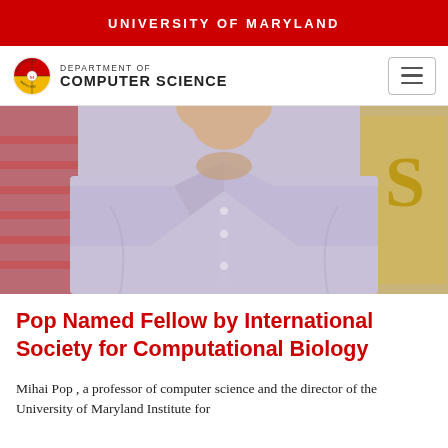UNIVERSITY OF MARYLAND
[Figure (logo): University of Maryland Department of Computer Science logo with navigation hamburger menu]
[Figure (photo): Portrait photo of Mihai Pop, a professor wearing a light purple/lavender button-up shirt, shown from approximately chest up]
Pop Named Fellow by International Society for Computational Biology
Mihai Pop , a professor of computer science and the director of the University of Maryland Institute for